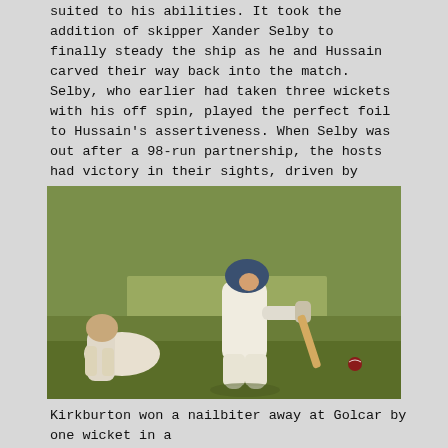suited to his abilities. It took the addition of skipper Xander Selby to finally steady the ship as he and Hussain carved their way back into the match. Selby, who earlier had taken three wickets with his off spin, played the perfect foil to Hussain's assertiveness. When Selby was out after a 98-run partnership, the hosts had victory in their sights, driven by Hussain's unflustered 88no with 14 overs left. The win took Delph 16 points clear with just 18 points left to play for, but for Parish defeat leaves them bottom of the table their fate virtually sealed.
[Figure (photo): A cricket batsman in white kit playing a shot on a cricket pitch, with a fielder in the foreground crouching. The batsman is wearing a helmet and gloves, lunging forward with bat extended.]
Kirkburton won a nailbiter away at Golcar by one wicket in a